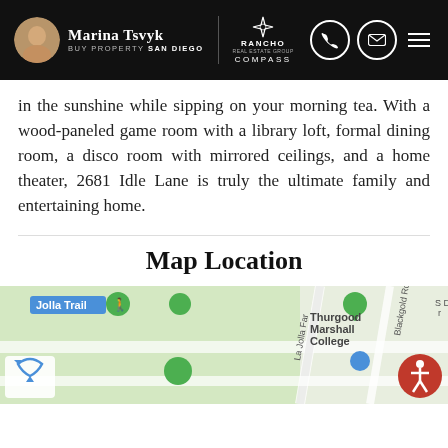Marina Tsvyk | Buy Property San Diego | Rancho Real Estate Group Compass
in the sunshine while sipping on your morning tea. With a wood-paneled game room with a library loft, formal dining room, a disco room with mirrored ceilings, and a home theater, 2681 Idle Lane is truly the ultimate family and entertaining home.
Map Location
[Figure (map): Google Maps view showing area near 2681 Idle Lane, featuring Jolla Trail, La Jolla Far road, Blackgold Rd, and Thurgood Marshall College landmarks]